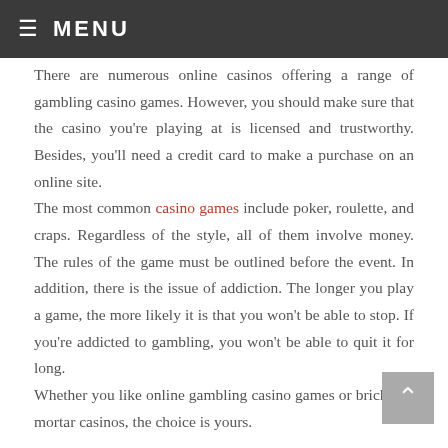≡ MENU
There are numerous online casinos offering a range of gambling casino games. However, you should make sure that the casino you're playing at is licensed and trustworthy. Besides, you'll need a credit card to make a purchase on an online site.
The most common casino games include poker, roulette, and craps. Regardless of the style, all of them involve money. The rules of the game must be outlined before the event. In addition, there is the issue of addiction. The longer you play a game, the more likely it is that you won't be able to stop. If you're addicted to gambling, you won't be able to quit it for long.
Whether you like online gambling casino games or brick and mortar casinos, the choice is yours.